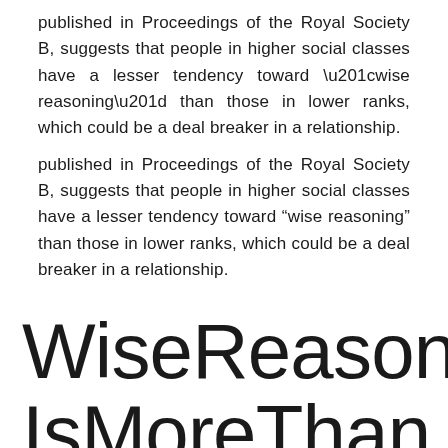published in Proceedings of the Royal Society B, suggests that people in higher social classes have a lesser tendency toward “wise reasoning” than those in lower ranks, which could be a deal breaker in a relationship.
Wise Reasoning Is More Than Knowledge; It’s Open-Mindedness and